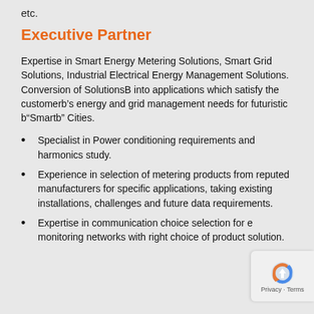etc.
Executive Partner
Expertise in Smart Energy Metering Solutions, Smart Grid Solutions, Industrial Electrical Energy Management Solutions. Conversion of SolutionsB into applications which satisfy the customerb’s energy and grid management needs for futuristic b“Smartb” Cities.
Specialist in Power conditioning requirements and harmonics study.
Experience in selection of metering products from reputed manufacturers for specific applications, taking existing installations, challenges and future data requirements.
Expertise in communication choice selection for e monitoring networks with right choice of product solution.